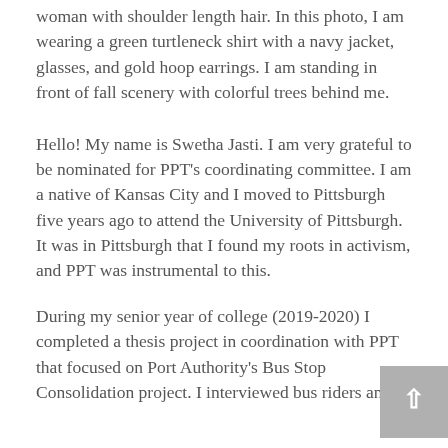woman with shoulder length hair. In this photo, I am wearing a green turtleneck shirt with a navy jacket, glasses, and gold hoop earrings. I am standing in front of fall scenery with colorful trees behind me.
Hello! My name is Swetha Jasti. I am very grateful to be nominated for PPT's coordinating committee. I am a native of Kansas City and I moved to Pittsburgh five years ago to attend the University of Pittsburgh. It was in Pittsburgh that I found my roots in activism, and PPT was instrumental to this.
During my senior year of college (2019-2020) I completed a thesis project in coordination with PPT that focused on Port Authority's Bus Stop Consolidation project. I interviewed bus riders and